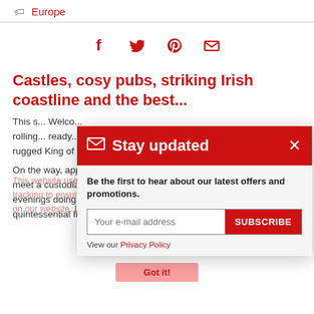Europe
[Figure (infographic): Social sharing icons: Facebook, Twitter, Pinterest, Email — all in red]
Castles, cosy pubs, striking Irish coastline and the best...
This s... Welco... rolling... ready... headi... rugged King of Kerry, and arriving at the scenic Dingle Peninsula.
On the way, appreciate the history and local lore of Ross Castle, meet a custodian of Sean-nós singing in Dingle town, and spend the evenings doing as locals do – a hearty meal a the pub. It's a quintessential Irish experience in its southwest reaches, but with
This website uses cookies and Google Analytics tracking to ensure you get the best experience on our website. Learn more
Be the first to hear about our latest offers and promotions.
Your e-mail address
SUBSCRIBE
View our Privacy Policy